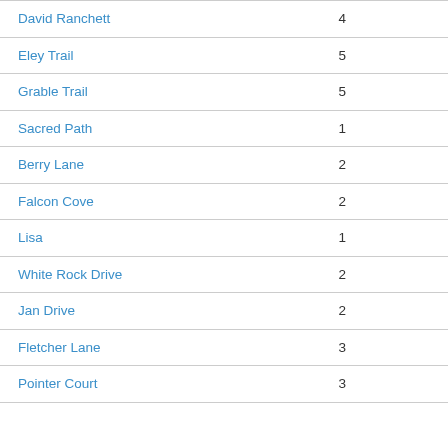| Name | Number |
| --- | --- |
| David Ranchett | 4 |
| Eley Trail | 5 |
| Grable Trail | 5 |
| Sacred Path | 1 |
| Berry Lane | 2 |
| Falcon Cove | 2 |
| Lisa | 1 |
| White Rock Drive | 2 |
| Jan Drive | 2 |
| Fletcher Lane | 3 |
| Pointer Court | 3 |